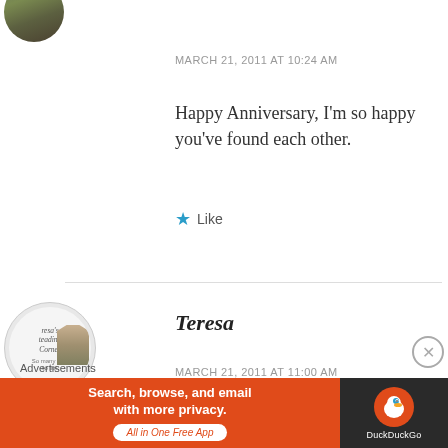[Figure (photo): Circular avatar photo of first commenter, partially cropped at top]
MARCH 21, 2011 AT 10:24 AM
Happy Anniversary, I'm so happy you've found each other.
Like
[Figure (photo): Circular avatar for Teresa's Reading Corner blog]
Teresa
MARCH 21, 2011 AT 11:00 AM
What a sweet post!
Advertisements
[Figure (screenshot): DuckDuckGo advertisement banner: Search, browse, and email with more privacy. All in One Free App]